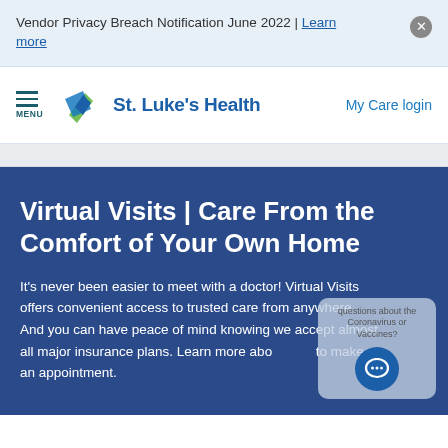Vendor Privacy Breach Notification June 2022 | Learn more
[Figure (logo): St. Luke's Health logo with green and blue cross/arrow icon and blue text]
My Care login
Virtual Visits | Care From the Comfort of Your Own Home
It's never been easier to meet with a doctor! Virtual Visits offers convenient access to trusted care from anywhere. And you can have peace of mind knowing we accept almost all major insurance plans. Learn more about to make an appointment.